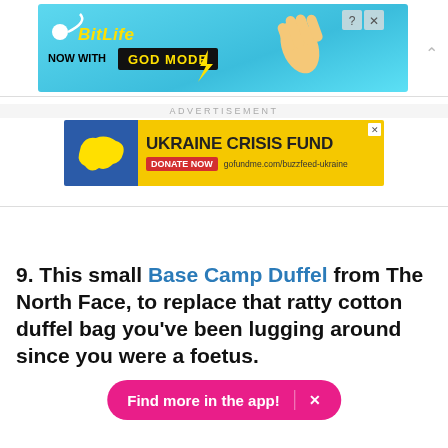[Figure (screenshot): BitLife mobile game advertisement banner — teal background, BitLife logo with sperm icon, 'NOW WITH GOD MODE' text, pointing hand graphic, close button]
ADVERTISEMENT
[Figure (screenshot): Ukraine Crisis Fund advertisement — blue left panel with yellow Ukraine map silhouette, yellow right panel with 'UKRAINE CRISIS FUND' in bold black, red 'DONATE NOW' button, gofundme.com/buzzfeed-ukraine URL]
9. This small Base Camp Duffel from The North Face, to replace that ratty cotton duffel bag you've been lugging around since you were a foetus.
[Figure (screenshot): Pink 'Find more in the app!' button with X close button, and partial duffel bag image at bottom]